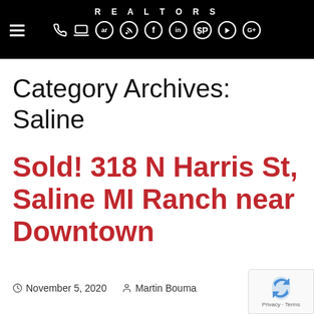REALTORS
Category Archives: Saline
Sold! 318 N Harris St, Saline MI Ranch near Downtown
November 5, 2020   Martin Bouma